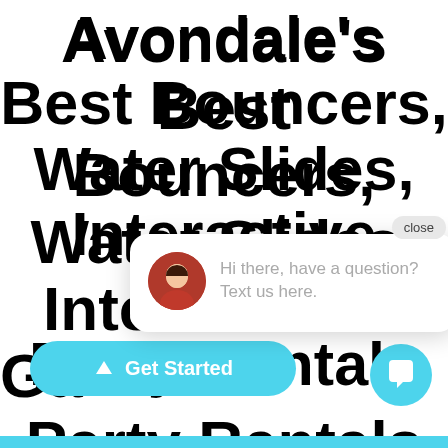Avondale's Best Bouncers, Water Slides, Interactive Ga Party Rentals
[Figure (screenshot): Chat popup with avatar of a woman, 'close' button, and message: 'Hi there, have a question? Text us here.']
Hi there, have a question? Text us here.
[Figure (other): Light blue 'Get Started' button with upward arrow icon]
[Figure (other): Light blue circular chat FAB button with speech bubble icon]